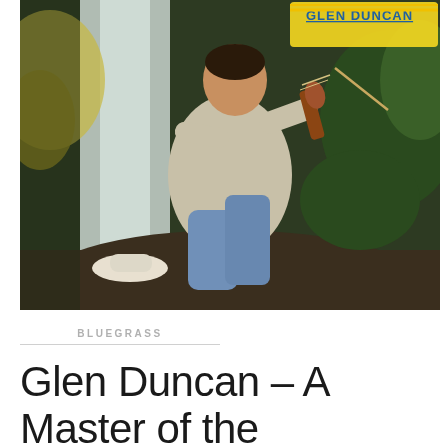[Figure (photo): Album cover for Glen Duncan showing a man in a light jacket sitting on a log playing violin/fiddle outdoors near a waterfall with tropical foliage. Text 'GLEN DUNCAN' visible in yellow letters in upper right of the album cover image.]
BLUEGRASS
Glen Duncan – A Master of the Bluegrass Fiddle